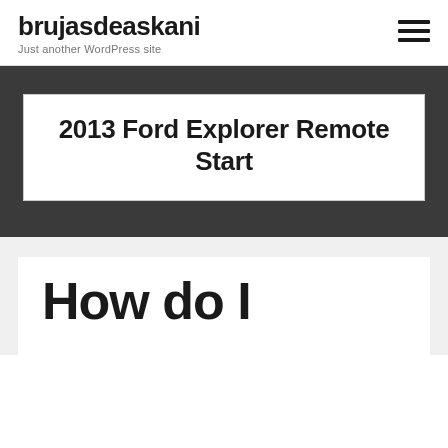brujasdeaskani
Just another WordPress site
2013 Ford Explorer Remote Start
How do I